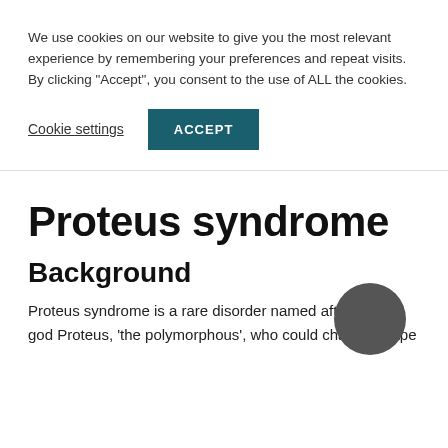We use cookies on our website to give you the most relevant experience by remembering your preferences and repeat visits. By clicking “Accept”, you consent to the use of ALL the cookies.
Cookie settings
ACCEPT
Proteus syndrome
Background
Proteus syndrome is a rare disorder named after the god Proteus, ‘the polymorphous’, who could change shape